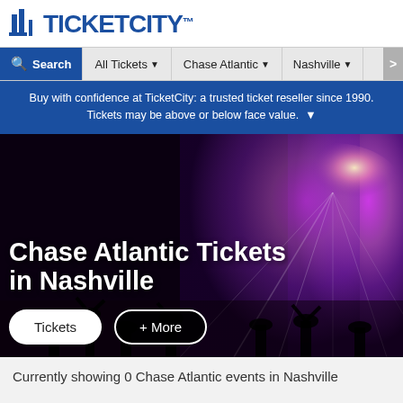[Figure (logo): TicketCity logo with building icon and bold blue text]
Search  All Tickets ▼  Chase Atlantic ▼  Nashville ▼  >
Buy with confidence at TicketCity: a trusted ticket reseller since 1990. Tickets may be above or below face value. ▼
[Figure (photo): Hero image of concert crowd with purple stage lights and rays. Text overlay reads 'Chase Atlantic Tickets in Nashville' with 'Tickets' and '+ More' buttons.]
Chase Atlantic Tickets in Nashville
Currently showing 0 Chase Atlantic events in Nashville
[Figure (illustration): Blue circle with a white ticket icon, partially cropped at bottom of page]